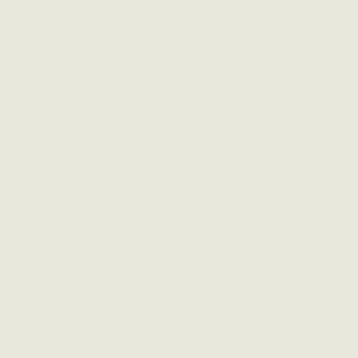Zcash ZEC
BitCoin Cash BCHN
DogeCoin DOGE
Tron TRX / Tron
The current exchange rate TUSD t... change also our profit on the given ex... discounts. Also we have cumulative s...
After registering as a Client, you c... savings in the next exchanges!
We invite owners of sites to take p... our service, by attracting a new cus... assigned to you forever!
For an automatic exchange, choo... yours E-Mail, requisites of purses and...
Our service exchanges between...